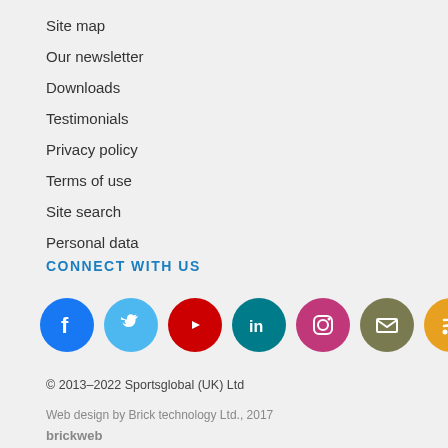Site map
Our newsletter
Downloads
Testimonials
Privacy policy
Terms of use
Site search
Personal data
CONNECT WITH US
[Figure (infographic): Social media icons: Facebook (blue), Twitter (light blue), YouTube (red), LinkedIn (teal), Instagram (pink/magenta), Email (olive/grey), RSS (orange)]
© 2013–2022 Sportsglobal (UK) Ltd
Web design by Brick technology Ltd., 2017
brickweb